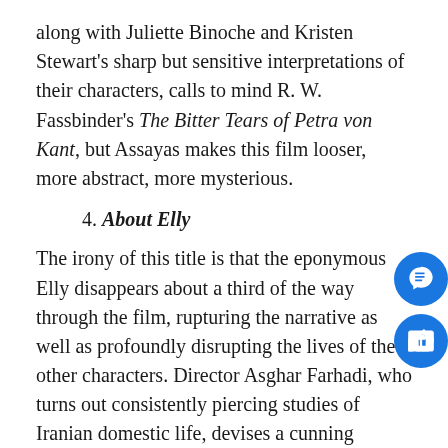along with Juliette Binoche and Kristen Stewart's sharp but sensitive interpretations of their characters, calls to mind R. W. Fassbinder's The Bitter Tears of Petra von Kant, but Assayas makes this film looser, more abstract, more mysterious.
4. About Elly
The irony of this title is that the eponymous Elly disappears about a third of the way through the film, rupturing the narrative as well as profoundly disrupting the lives of the other characters. Director Asghar Farhadi, who turns out consistently piercing studies of Iranian domestic life, devises a cunning parable about the pernicious effects of rigid social conventions and niceties. Farhadi's misguided characters spin a complex web of lies in which they find themselves caught tragically by their own devices.